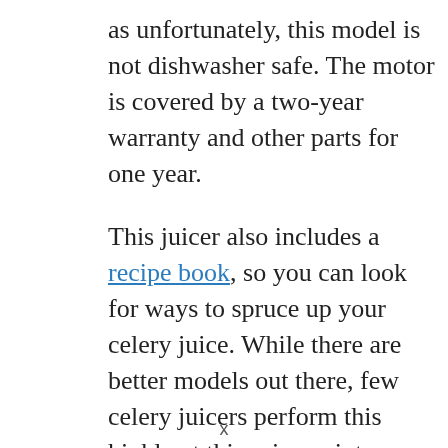as unfortunately, this model is not dishwasher safe. The motor is covered by a two-year warranty and other parts for one year.

This juicer also includes a recipe book, so you can look for ways to spruce up your celery juice. While there are better models out there, few celery juicers perform this highly at this price point.
x